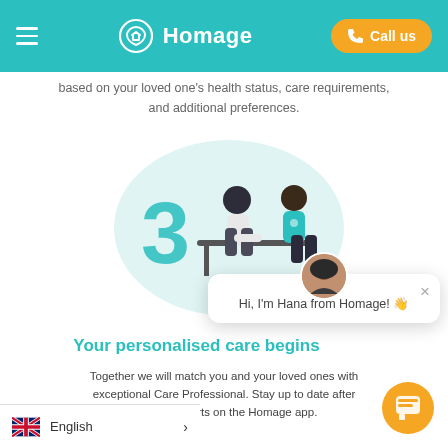Homage — Call us
based on your loved one's health status, care requirements, and additional preferences.
[Figure (illustration): Step 3 illustration: a caregiver (teal uniform) sitting across a table from a patient, with a large teal number '3' in the foreground, inside a light-teal oval shape]
Your personalised care begins
Together we will match you and your loved ones with an exceptional Care Professional. Stay up to date after detailed reports on the Homage app.
Hi, I'm Hana from Homage! 👋